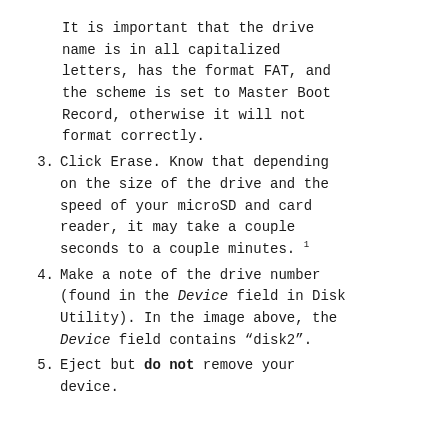It is important that the drive name is in all capitalized letters, has the format FAT, and the scheme is set to Master Boot Record, otherwise it will not format correctly.
3. Click Erase. Know that depending on the size of the drive and the speed of your microSD and card reader, it may take a couple seconds to a couple minutes. 1
4. Make a note of the drive number (found in the Device field in Disk Utility). In the image above, the Device field contains “disk2”.
5. Eject but do not remove your device.